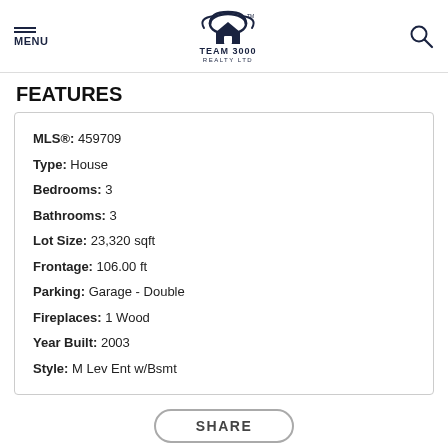MENU | TEAM 3000 REALTY LTD | [search icon]
FEATURES
MLS®: 459709
Type: House
Bedrooms: 3
Bathrooms: 3
Lot Size: 23,320 sqft
Frontage: 106.00 ft
Parking: Garage - Double
Fireplaces: 1 Wood
Year Built: 2003
Style: M Lev Ent w/Bsmt
SHARE